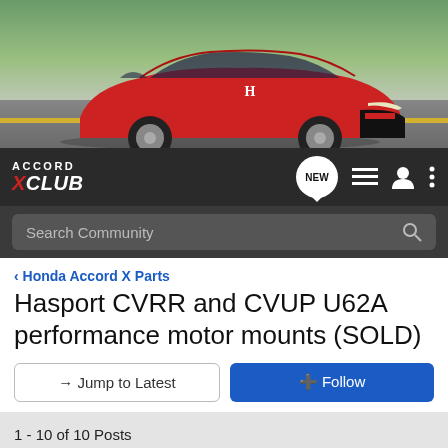[Figure (photo): Red Honda Accord driving on a highway road, front three-quarter view, with green landscape in background]
[Figure (screenshot): Accord X Club navigation bar with logo, NEW bubble, list icon, user icon, and menu icon on dark background]
[Figure (screenshot): Dark search bar with 'Search Community' placeholder text and magnifying glass icon]
< Honda Accord X Parts
Hasport CVRR and CVUP U62A performance motor mounts (SOLD)
→ Jump to Latest
+ Follow
1 - 10 of 10 Posts